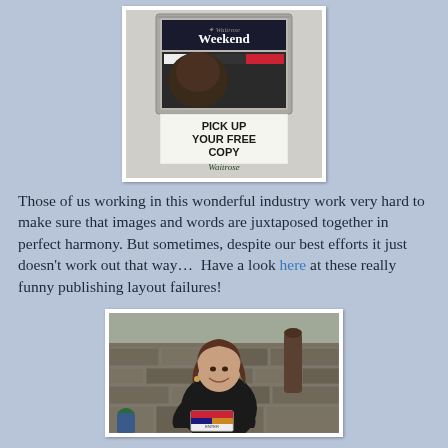[Figure (photo): A magazine rack displaying 'Waitrose Weekend' magazines with a sign reading 'PICK UP YOUR FREE COPY' and 'Waitrose' branding at the bottom.]
Those of us working in this wonderful industry work very hard to make sure that images and words are juxtaposed together in perfect harmony. But sometimes, despite our best efforts it just doesn't work out that way…  Have a look here at these really funny publishing layout failures!
[Figure (photo): A smiling woman with short brown hair standing outdoors near a stone wall, holding a magazine or booklet. She is wearing a dark top.]